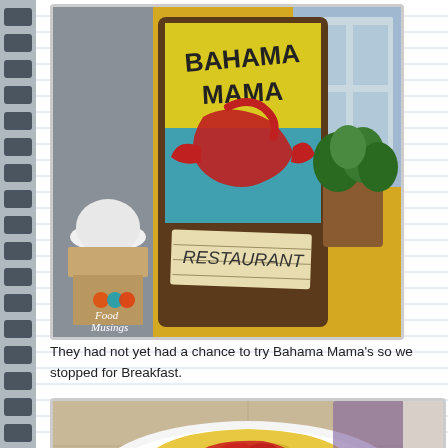[Figure (photo): Bahama Mama restaurant sign - a colorful sign with yellow background and red bird/flamingo graphic, with a smaller handwritten 'RESTAURANT' sign below. A person with a white helmet is visible in the foreground along with potted ferns. Food Musings watermark in lower left.]
They had not yet had a chance to try Bahama Mama's so we stopped for Breakfast.
[Figure (photo): A white plate with a folded yellow omelette topped with red tomato salsa/sauce, photographed from above on a table.]